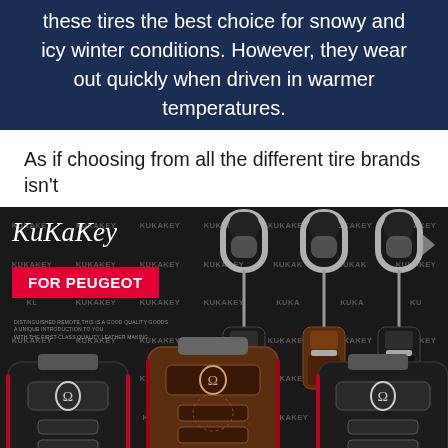these tires the best choice for snowy and icy winter conditions. However, they wear out quickly when driven in warmer temperatures.
As if choosing from all the different tire brands isn't
[Figure (photo): Product advertisement image for KuKaKey leather key fob covers for Peugeot vehicles. Dark background with repeating KUKAKEY watermark. Shows KuKaKey logo in script, a red 'FOR PEUGEOT' badge, three carabiner-style keychains with leather key covers in black (two) and brown (one) variants, and a close-up of a black Peugeot key fob at bottom left.]